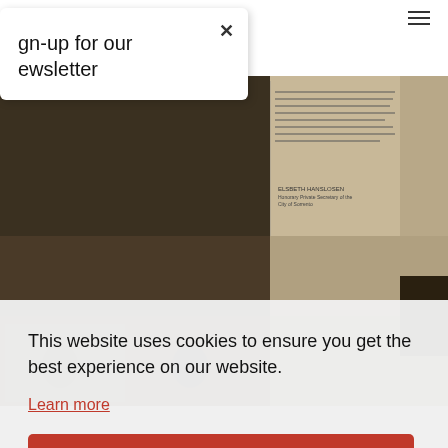Sign-up for our newsletter ×
ARCHIVE
[Figure (photo): Black and white magazine spread with jazz/music photographs and article text. Shows musicians and article columns with an image of ELSBETH HANSLOSEN captioned 'Honorary Private Secretary of the City of Sorrento'.]
This website uses cookies to ensure you get the best experience on our website.
Learn more
Got it!